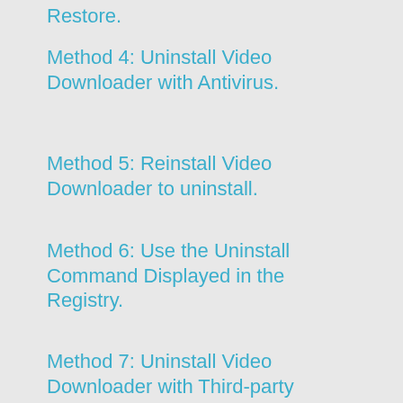Restore.
Method 4: Uninstall Video Downloader with Antivirus.
Method 5: Reinstall Video Downloader to uninstall.
Method 6: Use the Uninstall Command Displayed in the Registry.
Method 7: Uninstall Video Downloader with Third-party Uninstaller.